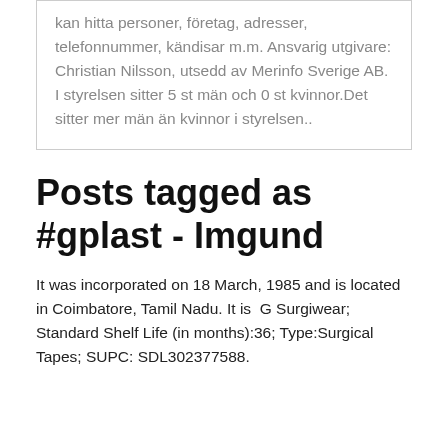kan hitta personer, företag, adresser, telefonnummer, kändisar m.m. Ansvarig utgivare: Christian Nilsson, utsedd av Merinfo Sverige AB. I styrelsen sitter 5 st män och 0 st kvinnor.Det sitter mer män än kvinnor i styrelsen..
Posts tagged as #gplast - Imgund
It was incorporated on 18 March, 1985 and is located in Coimbatore, Tamil Nadu. It is  G Surgiwear; Standard Shelf Life (in months):36; Type:Surgical Tapes; SUPC: SDL302377588.